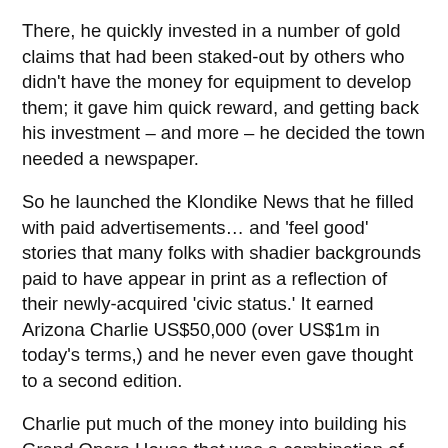There, he quickly invested in a number of gold claims that had been staked-out by others who didn't have the money for equipment to develop them; it gave him quick reward, and getting back his investment – and more – he decided the town needed a newspaper.
So he launched the Klondike News that he filled with paid advertisements… and 'feel good' stories that many folks with shadier backgrounds paid to have appear in print as a reflection of their newly-acquired 'civic status.' It earned Arizona Charlie US$50,000 (over US$1m in today's terms,) and he never even gave thought to a second edition.
Charlie put much of the money into building his Grand Opera House that was a combination of palatial European theatre and flashy American music hall. But because of its design, patrons had to access performances by first running the gauntlet of his saloon in the foyer, and which a local journal criticised as "patronised by boisterous men spitting, smoking, swearing, drinking and gambling… a not at-all comfortable environment for civilised theatre-going ladies to have to pass